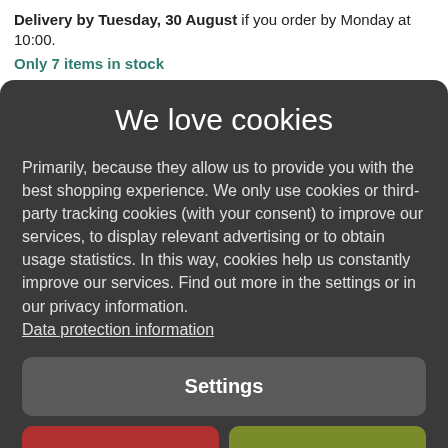Delivery by Tuesday, 30 August if you order by Monday at 10:00.
Only 7 items in stock
We love cookies
Primarily, because they allow us to provide you with the best shopping experience. We only use cookies or third-party tracking cookies (with your consent) to improve our services, to display relevant advertising or to obtain usage statistics. In this way, cookies help us constantly improve our services. Find out more in the settings or in our privacy information.
Data protection information
Settings
Reject all
Accept all